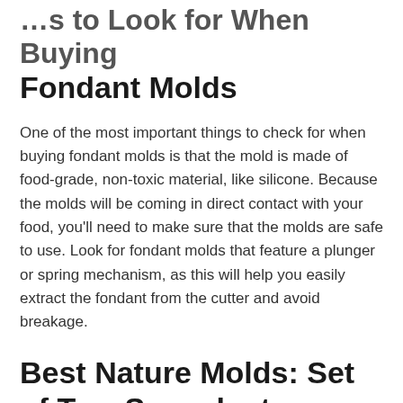...s to Look for When Buying Fondant Molds
One of the most important things to check for when buying fondant molds is that the mold is made of food-grade, non-toxic material, like silicone. Because the molds will be coming in direct contact with your food, you'll need to make sure that the molds are safe to use. Look for fondant molds that feature a plunger or spring mechanism, as this will help you easily extract the fondant from the cutter and avoid breakage.
Best Nature Molds: Set of Two Succulent Silicone Fondant Molds